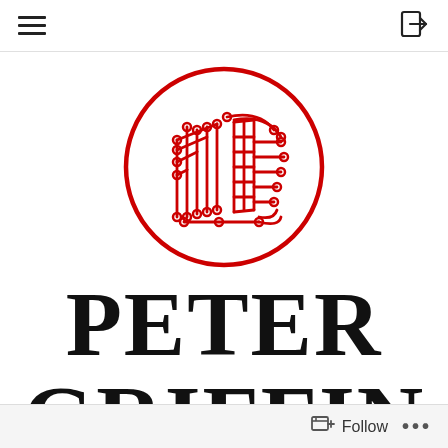Navigation header with hamburger menu and login icon
[Figure (logo): Red circuit board pattern in a circular border forming a logo — contains PCB-style traces, connection dots, and component patterns in red on white background]
PETER
GRIFFIN
Follow ...